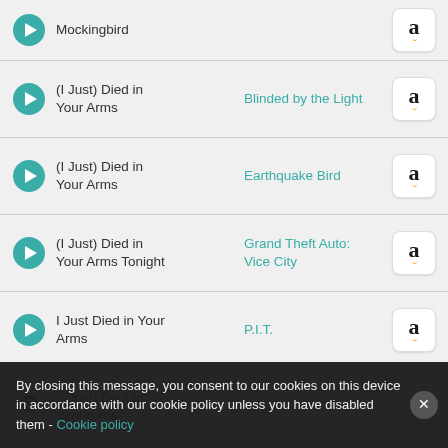Mockingbird | (Amazon)
(I Just) Died in Your Arms | Blinded by the Light
(I Just) Died in Your Arms | Earthquake Bird
(I Just) Died in Your Arms Tonight | Grand Theft Auto: Vice City
I Just Died in Your Arms | P.I.T.
(I Just) Died In Your arms | Lucifer
(I Just) Died In Your Arms | Stranger Things
(I Just) Died in Your Arms | Euphoria
(I Just) Died in | (partial)
By closing this message, you consent to our cookies on this device in accordance with our cookie policy unless you have disabled them - Cookie policy